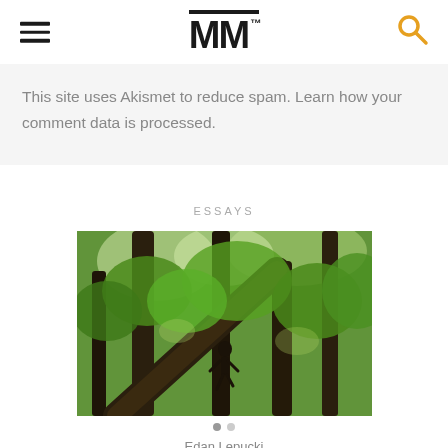MM™
This site uses Akismet to reduce spam. Learn how your comment data is processed.
ESSAYS
[Figure (photo): Person climbing a large tree in a lush green forest, photographed from below looking up at the canopy]
Edan Lepucki